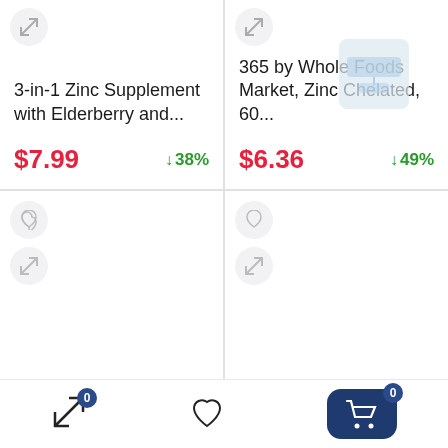3-in-1 Zinc Supplement with Elderberry and...
$7.99
↓38%
365 by Whole Foods Market, Zinc Chelated, 60...
$6.36
↓49%
[Figure (screenshot): Bottom row cards with heart and compare icons]
[Figure (screenshot): Bottom navigation bar with compare (badge 0), wishlist heart, and cart (badge 0) icons]